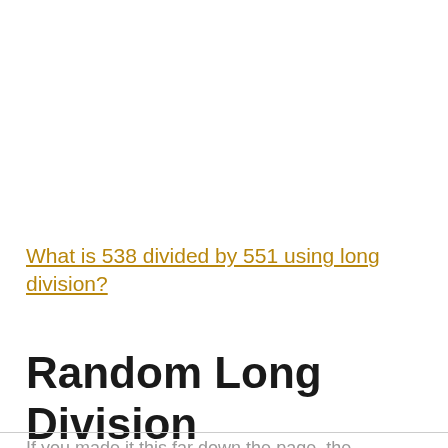What is 538 divided by 551 using long division?
Random Long Division Problems
If you made it this far down the page, the